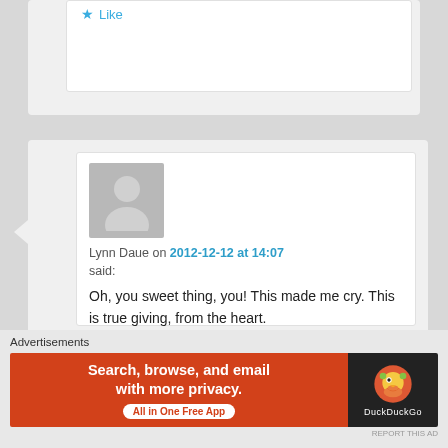[Figure (screenshot): Top of a comment card partially visible, showing a Like button with star icon]
[Figure (screenshot): User comment card with avatar placeholder, username Lynn Daue, date 2012-12-12 at 14:07, comment text and Like button]
Lynn Daue on 2012-12-12 at 14:07
said:
Oh, you sweet thing, you! This made me cry. This is true giving, from the heart.
Like
Advertisements
[Figure (screenshot): DuckDuckGo advertisement banner: Search, browse, and email with more privacy. All in One Free App]